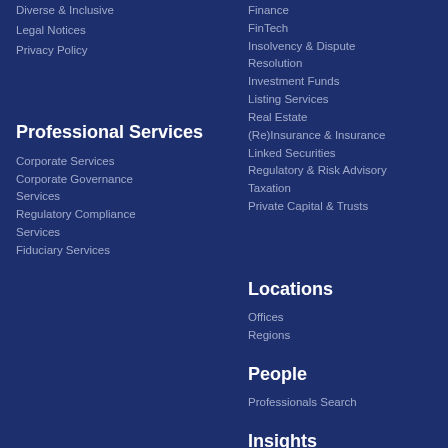Diverse & Inclusive
Legal Notices
Privacy Policy
Finance
FinTech
Insolvency & Dispute Resolution
Investment Funds
Listing Services
Real Estate
(Re)Insurance & Insurance Linked Securities
Regulatory & Risk Advisory
Taxation
Private Capital & Trusts
Professional Services
Corporate Services
Corporate Governance Services
Regulatory Compliance Services
Fiduciary Services
Locations
Offices
Regions
People
Professionals Search
Insights